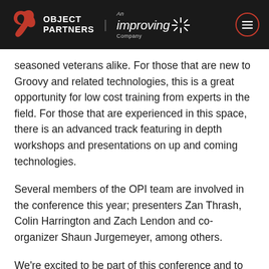OBJECT PARTNERS — An Improving Company
seasoned veterans alike. For those that are new to Groovy and related technologies, this is a great opportunity for low cost training from experts in the field. For those that are experienced in this space, there is an advanced track featuring in depth workshops and presentations on up and coming technologies.
Several members of the OPI team are involved in the conference this year; presenters Zan Thrash, Colin Harrington and Zach Lendon and co-organizer Shaun Jurgemeyer, among others.
We're excited to be part of this conference and to do our part to advance these GR8 technologies.